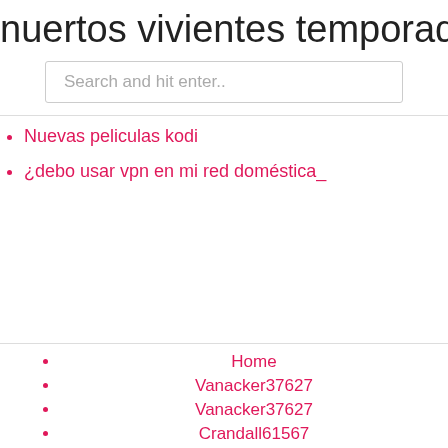nuertos vivientes temporada 1 episo
Search and hit enter..
Nuevas peliculas kodi
¿debo usar vpn en mi red doméstica_
Home
Vanacker37627
Vanacker37627
Crandall61567